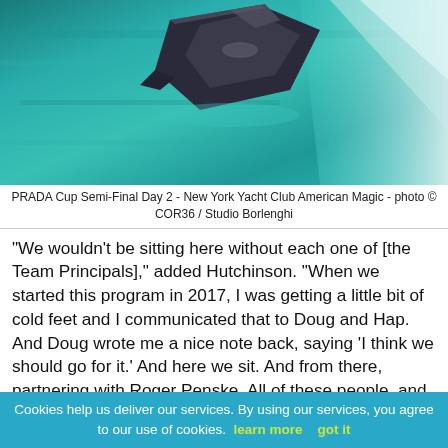[Figure (photo): Aerial view of a racing yacht (New York Yacht Club American Magic) on turquoise water, photographed from above during PRADA Cup Semi-Final Day 2. The boat is seen from directly above, with white wake visible to the right.]
PRADA Cup Semi-Final Day 2 - New York Yacht Club American Magic - photo © COR36 / Studio Borlenghi
"We wouldn't be sitting here without each one of [the Team Principals]," added Hutchinson. "When we started this program in 2017, I was getting a little bit of cold feet and I communicated that to Doug and Hap. And Doug wrote me a nice note back, saying 'I think we should go for it.' And here we sit. And from there, partnering with Roger Penske. All of these people, and the [New York Yacht] Club, represent what's great about our country, [with] the passion that they bring to the sport and the passion that they bring to sailing. Roger was always quick to say he didn't know a lot about sailing, but he knows a lot about winning. And his influence on our team was always present."
Cookies help us deliver our services. By using our services, you agree to our use of cookies. learn more   got it